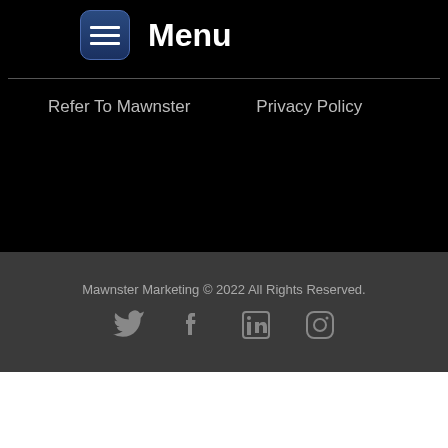[Figure (logo): Menu icon — rounded rectangle with dark blue background and three horizontal white lines (hamburger menu icon), with 'Menu' text to the right]
Refer To Mawnster
Privacy Policy
Mawnster Marketing © 2022 All Rights Reserved.
[Figure (other): Social media icons row: Twitter bird, Facebook f, LinkedIn in, Instagram camera icons in gray]